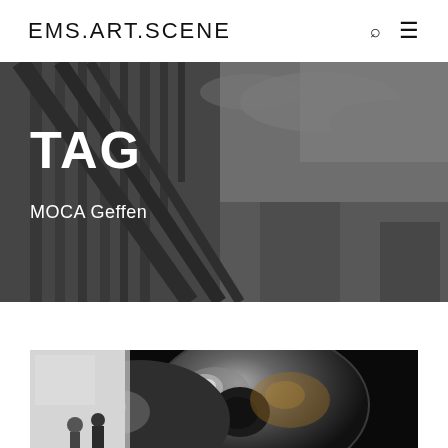EMS.ART.SCENE
TAG
MOCA Geffen
[Figure (photo): Black and white photograph of an angular architectural structure against a cloudy sky, serving as the hero banner background]
[Figure (photo): Close-up photograph of a large reflective metallic sculpture with rounded organic forms in a dark gallery setting, with gallery visitors visible in the background]